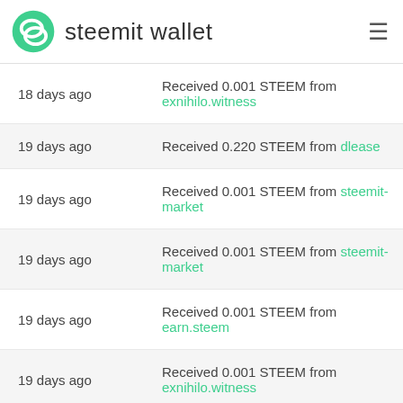steemit wallet
18 days ago — Received 0.001 STEEM from exnihilo.witness
19 days ago — Received 0.220 STEEM from dlease
19 days ago — Received 0.001 STEEM from steemit-market
19 days ago — Received 0.001 STEEM from steemit-market
19 days ago — Received 0.001 STEEM from earn.steem
19 days ago — Received 0.001 STEEM from exnihilo.witness
20 days ago — Received 0.220 STEEM from dlease
20 days ago — Received 0.001 STEEM from earn.steem
20 days ago — Received 0.001 STEEM from exnihilo.witness
20 days ago — Transfer 62.120 STEEM to oneplus7